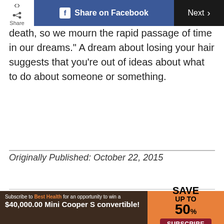Share | Share on Facebook | Next >
death, so we mourn the rapid passage of time in our dreams." A dream about losing your hair suggests that you're out of ideas about what to do about someone or something.
Originally Published: October 22, 2015
[Figure (infographic): Advertisement: Subscribe to Best Health for an opportunity to win a $40,000.00 Mini Cooper S convertible! Save up to 50%. Subscribe button. Shows red Mini Cooper convertible and Best Health magazine cover with 'Good Company'.]